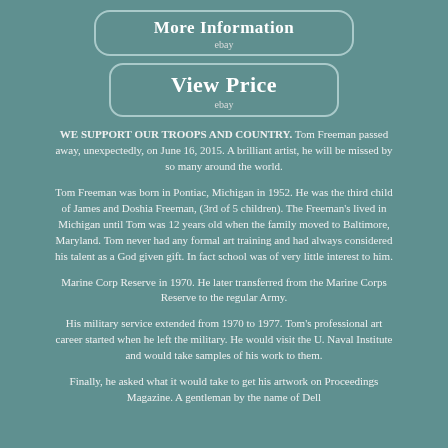[Figure (screenshot): Button labeled 'More Information' with 'ebay' subtitle, teal rounded rectangle style]
[Figure (screenshot): Button labeled 'View Price' with 'ebay' subtitle, teal rounded rectangle style]
WE SUPPORT OUR TROOPS AND COUNTRY. Tom Freeman passed away, unexpectedly, on June 16, 2015. A brilliant artist, he will be missed by so many around the world.
Tom Freeman was born in Pontiac, Michigan in 1952. He was the third child of James and Doshia Freeman, (3rd of 5 children). The Freeman's lived in Michigan until Tom was 12 years old when the family moved to Baltimore, Maryland. Tom never had any formal art training and had always considered his talent as a God given gift. In fact school was of very little interest to him.
Marine Corp Reserve in 1970. He later transferred from the Marine Corps Reserve to the regular Army.
His military service extended from 1970 to 1977. Tom's professional art career started when he left the military. He would visit the U. Naval Institute and would take samples of his work to them.
Finally, he asked what it would take to get his artwork on Proceedings Magazine. A gentleman by the name of Dell